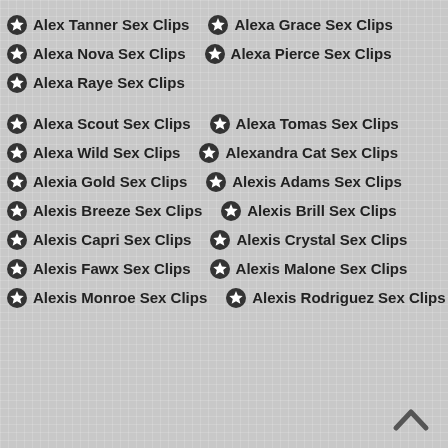Alex Tanner Sex Clips
Alexa Grace Sex Clips
Alexa Nova Sex Clips
Alexa Pierce Sex Clips
Alexa Raye Sex Clips
Alexa Scout Sex Clips
Alexa Tomas Sex Clips
Alexa Wild Sex Clips
Alexandra Cat Sex Clips
Alexia Gold Sex Clips
Alexis Adams Sex Clips
Alexis Breeze Sex Clips
Alexis Brill Sex Clips
Alexis Capri Sex Clips
Alexis Crystal Sex Clips
Alexis Fawx Sex Clips
Alexis Malone Sex Clips
Alexis Monroe Sex Clips
Alexis Rodriguez Sex Clips